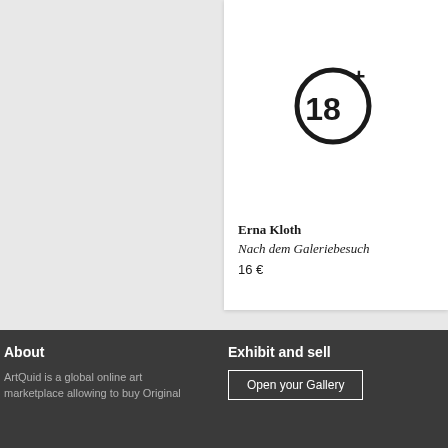[Figure (illustration): 18+ age restriction symbol — a circle with '18+' text inside, bold black outline on white background]
Erna Kloth
Nach dem Galeriebesuch
16 €
About
ArtQuid is a global online art marketplace allowing to buy Original
Exhibit and sell
Open your Gallery